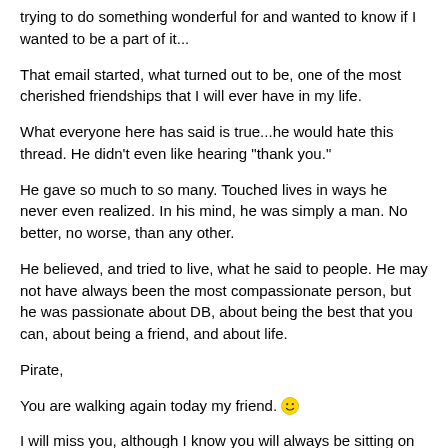trying to do something wonderful for and wanted to know if I wanted to be a part of it...
That email started, what turned out to be, one of the most cherished friendships that I will ever have in my life.
What everyone here has said is true...he would hate this thread. He didn't even like hearing "thank you."
He gave so much to so many. Touched lives in ways he never even realized. In his mind, he was simply a man. No better, no worse, than any other.
He believed, and tried to live, what he said to people. He may not have always been the most compassionate person, but he was passionate about DB, about being the best that you can, about being a friend, and about life.
Pirate,
You are walking again today my friend. 😊
I will miss you, although I know you will always be sitting on my shoulder, whispering in my ear "did you do it right?"
Until we dip our toes in the water again...